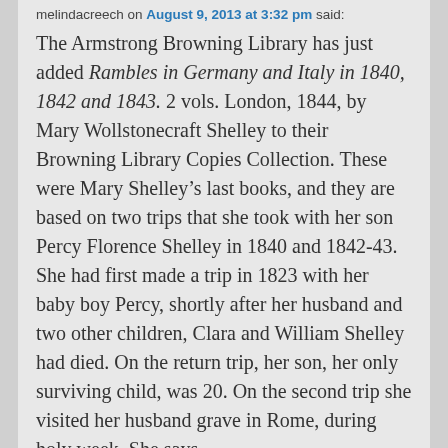melindacreech on August 9, 2013 at 3:32 pm said:
The Armstrong Browning Library has just added Rambles in Germany and Italy in 1840, 1842 and 1843. 2 vols. London, 1844, by Mary Wollstonecraft Shelley to their Browning Library Copies Collection. These were Mary Shelley’s last books, and they are based on two trips that she took with her son Percy Florence Shelley in 1840 and 1842-43. She had first made a trip in 1823 with her baby boy Percy, shortly after her husband and two other children, Clara and William Shelley had died. On the return trip, her son, her only surviving child, was 20. On the second trip she visited her husband grave in Rome, during holy week. She says,